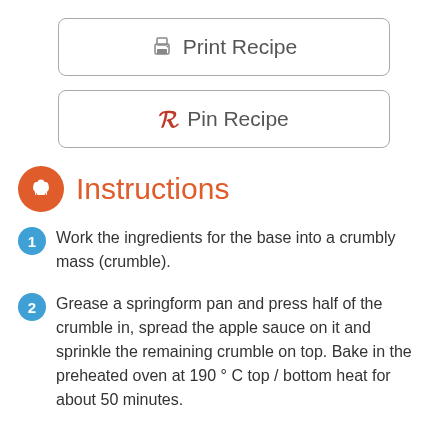Print Recipe
Pin Recipe
Instructions
Work the ingredients for the base into a crumbly mass (crumble).
Grease a springform pan and press half of the crumble in, spread the apple sauce on it and sprinkle the remaining crumble on top. Bake in the preheated oven at 190 ° C top / bottom heat for about 50 minutes.